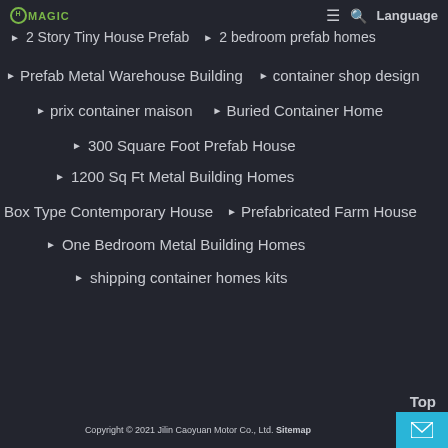H O MAGIC | 2 Story Tiny House Prefab | 2 bedroom prefab homes
Prefab Metal Warehouse Building
container shop design
prix container maison
Buried Container Home
300 Square Foot Prefab House
1200 Sq Ft Metal Building Homes
Box Type Contemporary House
Prefabricated Farm House
One Bedroom Metal Building Homes
shipping container homes kits
Top | Copyright © 2021 Jilin Caoyuan Motor Co., Ltd. Sitemap